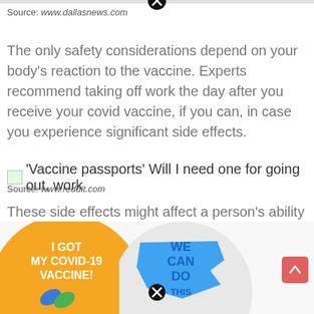Source: www.dallasnews.com
The only safety considerations depend on your body's reaction to the vaccine. Experts recommend taking off work the day after you receive your covid vaccine, if you can, in case you experience significant side effects.
'Vaccine passports' Will I need one for going out, work
Source: www.reddit.com
These side effects might affect a person's ability to work out, but most people can return to exercising within days or even hours of getting the vaccine. Watch for symptoms for 14 days.
[Figure (illustration): Two circular vaccine promotion badges: an orange badge reading 'I GOT MY COVID-19 VACCINE!' with bandage icons, and a blue/white badge showing a US map with 'WE CAN DO THIS' text.]